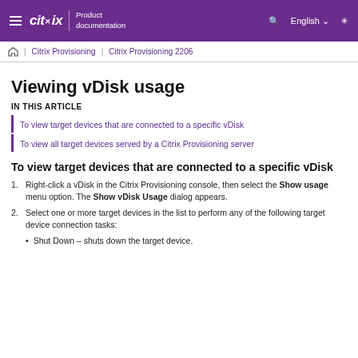Citrix Product documentation | English
Citrix Provisioning | Citrix Provisioning 2206
Viewing vDisk usage
IN THIS ARTICLE
To view target devices that are connected to a specific vDisk
To view all target devices served by a Citrix Provisioning server
To view target devices that are connected to a specific vDisk
1. Right-click a vDisk in the Citrix Provisioning console, then select the Show usage menu option. The Show vDisk Usage dialog appears.
2. Select one or more target devices in the list to perform any of the following target device connection tasks:
Shut Down – shuts down the target device.